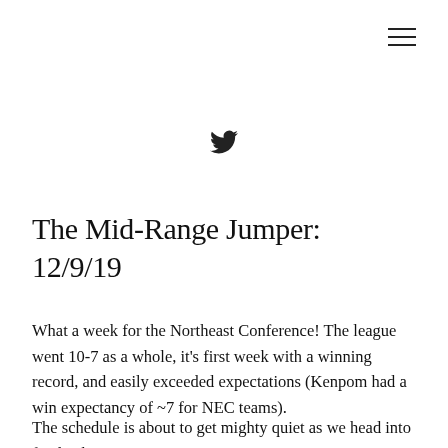[Figure (logo): Hamburger menu icon (three horizontal lines) in top right corner]
[Figure (logo): Twitter bird icon centered near top of page]
The Mid-Range Jumper: 12/9/19
What a week for the Northeast Conference! The league went 10-7 as a whole, it's first week with a winning record, and easily exceeded expectations (Kenpom had a win expectancy of ~7 for NEC teams).
The schedule is about to get mighty quiet as we head into finals, then Christmas break, but not before...